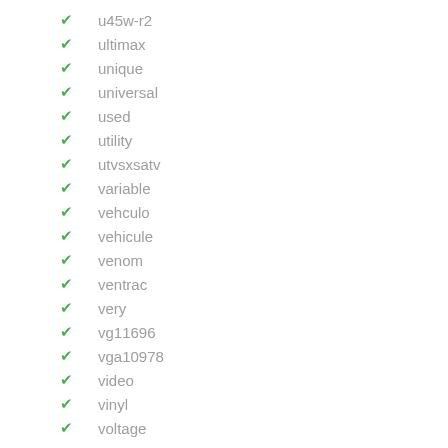u45w-r2
ultimax
unique
universal
used
utility
utvsxsatv
variable
vehculo
vehicule
venom
ventrac
very
vg11696
vga10978
video
vinyl
voltage